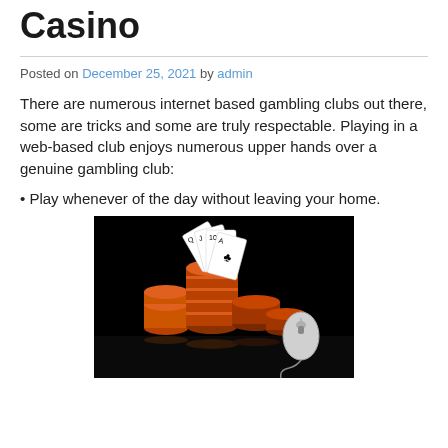Casino
Posted on December 25, 2021 by admin
There are numerous internet based gambling clubs out there, some are tricks and some are truly respectable. Playing in a web-based club enjoys numerous upper hands over a genuine gambling club:
• Play whenever of the day without leaving your home.
[Figure (photo): Dark background photo showing casino poker chips stacked tall with playing cards fanned out on top, and a white computer mouse to the right, all on a reflective black surface.]